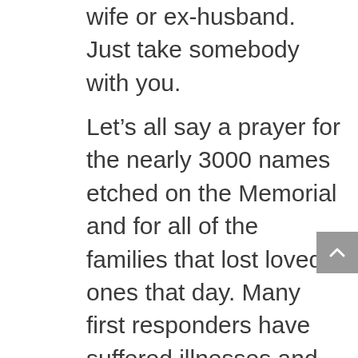wife or ex-husband. Just take somebody with you.
Let's all say a prayer for the nearly 3000 names etched on the Memorial and for all of the families that lost loved ones that day. Many first responders have suffered illnesses and even died well after the incident because of its health issues. Let's pray for all of them too. While talking to The Man Upstairs, let's also pray for our hard-working firefighters and men and women in blue who risk their lives for us every day. God bless